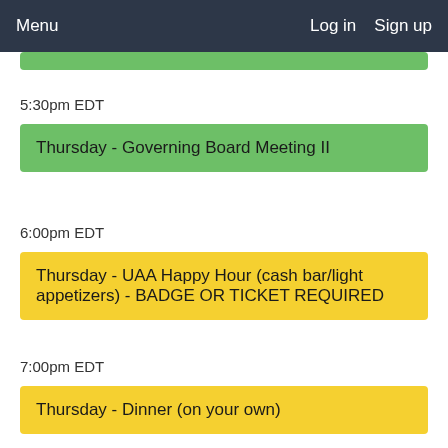Menu   Log in   Sign up
5:30pm EDT
Thursday - Governing Board Meeting II
6:00pm EDT
Thursday - UAA Happy Hour (cash bar/light appetizers) - BADGE OR TICKET REQUIRED
7:00pm EDT
Thursday - Dinner (on your own)